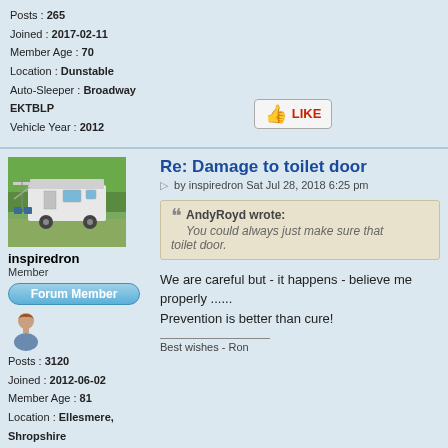Posts : 265
Joined : 2017-02-11
Member Age : 70
Location : Dunstable
Auto-Sleeper : Broadway EKTBLP
Vehicle Year : 2012
[Figure (other): LIKE button with thumbs up icon]
[Figure (photo): Motorhome parked outdoors with awning extended and chairs outside]
inspiredron
Member
[Figure (other): Forum Member badge button]
[Figure (other): User avatar icon (generic person silhouette)]
Posts : 3120
Joined : 2012-06-02
Member Age : 81
Location : Ellesmere, Shropshire
Auto-Sleeper : Lancashire
Vehicle Year : 2012
Re: Damage to toilet door
by inspiredron Sat Jul 28, 2018 6:25 pm
AndyRoyd wrote:
You could always just make sure that toilet door.
We are careful but - it happens - believe me properly ......
Prevention is better than cure!
Best wishes - Ron